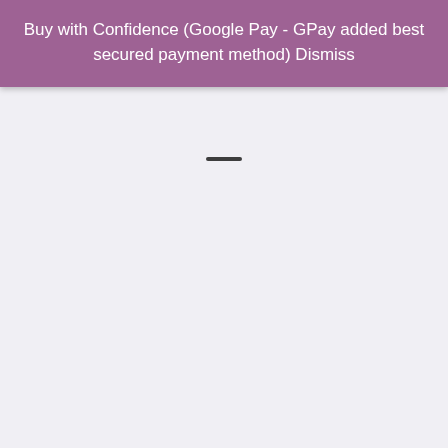Buy with Confidence (Google Pay - GPay added best secured payment method) Dismiss
[Figure (other): Drag handle bar below the banner, indicating a bottom sheet or modal drawer UI element]